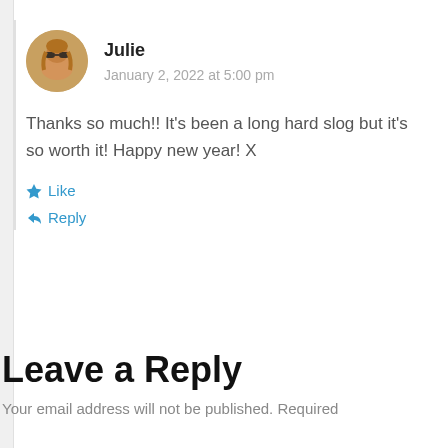Julie
January 2, 2022 at 5:00 pm
Thanks so much!! It’s been a long hard slog but it’s so worth it! Happy new year! X
★ Like
↪ Reply
Leave a Reply
Your email address will not be published. Required